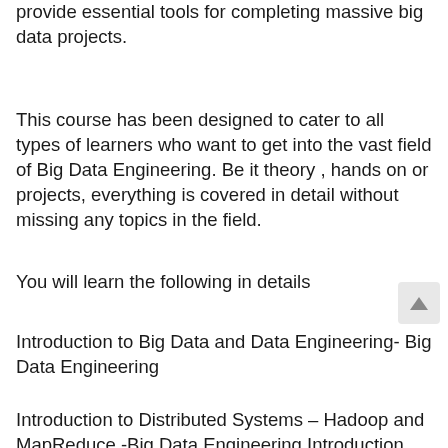provide essential tools for completing massive big data projects.
This course has been designed to cater to all types of learners who want to get into the vast field of Big Data Engineering. Be it theory , hands on or projects, everything is covered in detail without missing any topics in the field.
You will learn the following in details
Introduction to Big Data and Data Engineering- Big Data Engineering
Introduction to Distributed Systems – Hadoop and MapReduce -Big Data Engineering Introduction